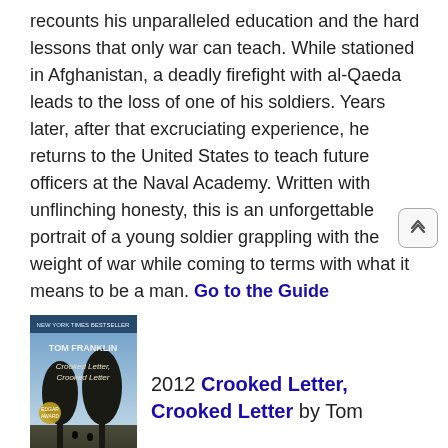recounts his unparalleled education and the hard lessons that only war can teach. While stationed in Afghanistan, a deadly firefight with al-Qaeda leads to the loss of one of his soldiers. Years later, after that excruciating experience, he returns to the United States to teach future officers at the Naval Academy. Written with unflinching honesty, this is an unforgettable portrait of a young soldier grappling with the weight of war while coming to terms with what it means to be a man. Go to the Guide
[Figure (photo): Book cover of Crooked Letter, Crooked Letter by Tom Franklin]
2012 Crooked Letter, Crooked Letter by Tom Franklin
Edgar Award-winning author Tom Franklin returns with his most accomplished and resonant novel so far—an atmospheric drama set in rural Mississippi. In the late 1970s, Larry Ott and